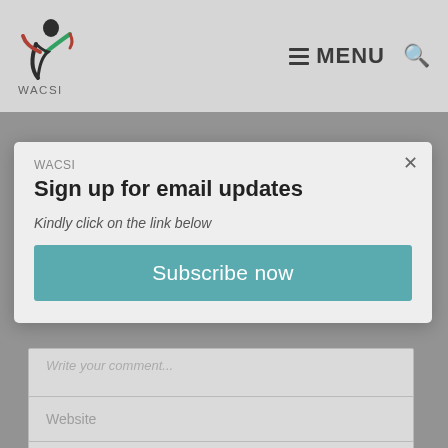[Figure (screenshot): WACSI website navigation bar with logo on left and MENU hamburger icon and search icon on right, against a light grey/white background]
LEAVE YOUR COMMENTS
[Figure (screenshot): Email subscription modal dialog with title 'Sign up for email updates', subtitle 'Kindly click on the link below', and a teal Subscribe now button. Has close X button top right and WACSI organization label top left.]
Write your comment...
Website